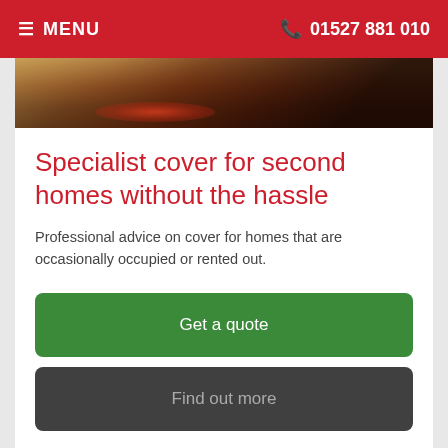≡ MENU   📞 01527 881 010
[Figure (photo): Outdoor flooring/pavement photo strip with warm tones and red glow reflection]
Specialist cover for second homes without the hassle
Professional advice on cover for homes that are occasionally occupied or rented out.
Get a quote
Find out more